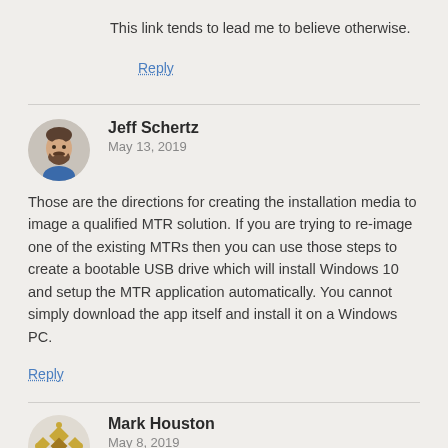This link tends to lead me to believe otherwise.
Reply
Jeff Schertz
May 13, 2019
Those are the directions for creating the installation media to image a qualified MTR solution. If you are trying to re-image one of the existing MTRs then you can use those steps to create a bootable USB drive which will install Windows 10 and setup the MTR application automatically. You cannot simply download the app itself and install it on a Windows PC.
Reply
Mark Houston
May 8, 2019